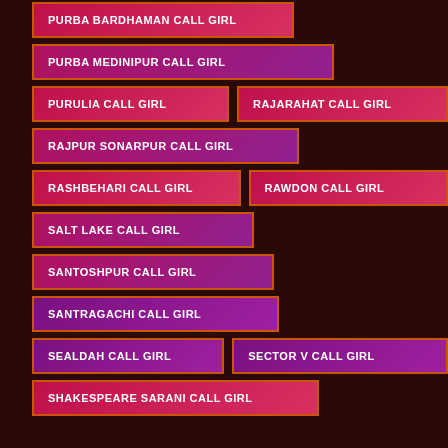PURBA BARDHAMAN CALL GIRL
PURBA MEDINIPUR CALL GIRL
PURULIA CALL GIRL
RAJARAHAT CALL GIRL
RAJPUR SONARPUR CALL GIRL
RASHBEHARI CALL GIRL
RAWDON CALL GIRL
SALT LAKE CALL GIRL
SANTOSHPUR CALL GIRL
SANTRAGACHI CALL GIRL
SEALDAH CALL GIRL
SECTOR V CALL GIRL
SHAKESPEARE SARANI CALL GIRL